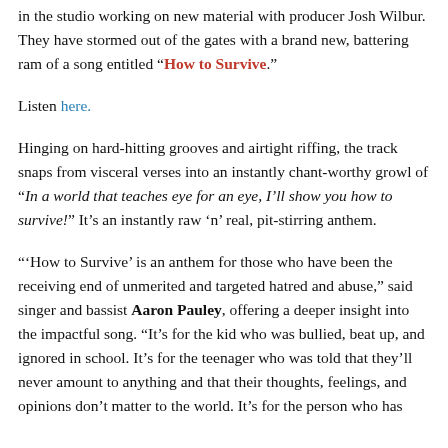in the studio working on new material with producer Josh Wilbur. They have stormed out of the gates with a brand new, battering ram of a song entitled “How to Survive.”
Listen here.
Hinging on hard-hitting grooves and airtight riffing, the track snaps from visceral verses into an instantly chant-worthy growl of “In a world that teaches eye for an eye, I’ll show you how to survive!” It’s an instantly raw ‘n’ real, pit-stirring anthem.
“‘How to Survive’ is an anthem for those who have been the receiving end of unmerited and targeted hatred and abuse,” said singer and bassist Aaron Pauley, offering a deeper insight into the impactful song. “It’s for the kid who was bullied, beat up, and ignored in school. It’s for the teenager who was told that they’ll never amount to anything and that their thoughts, feelings, and opinions don’t matter to the world. It’s for the person who has